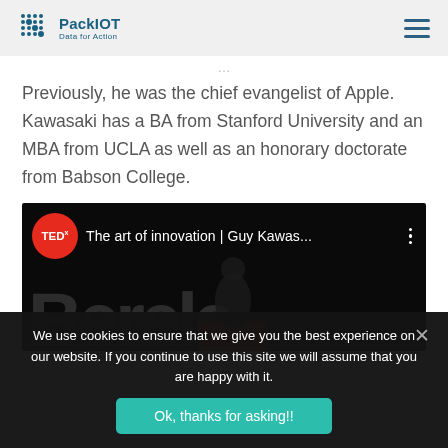PackIOT – Data for Action
Previously, he was the chief evangelist of Apple. Kawasaki has a BA from Stanford University and an MBA from UCLA as well as an honorary doctorate from Babson College.
[Figure (screenshot): TEDx talk video thumbnail showing 'The art of innovation | Guy Kawas...' with a speaker silhouette on stage against a dark background with the word Berkeley visible.]
We use cookies to ensure that we give you the best experience on our website. If you continue to use this site we will assume that you are happy with it.